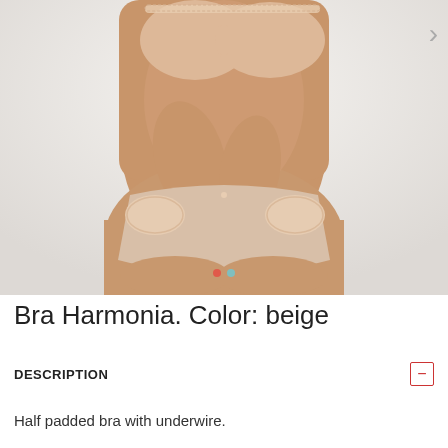[Figure (photo): Woman wearing beige/nude lingerie set — half padded bra with underwire and matching briefs with lace side panels. Carousel navigation arrow visible on right. Two carousel dots (red active, teal inactive) at bottom of image.]
Bra Harmonia. Color: beige
DESCRIPTION
Half padded bra with underwire.